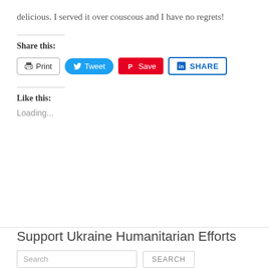delicious. I served it over couscous and I have no regrets!
Share this:
[Figure (other): Social share buttons: Print, Tweet, Save (Pinterest), Share (LinkedIn)]
Like this:
Loading...
Support Ukraine Humanitarian Efforts
Search ... SEARCH